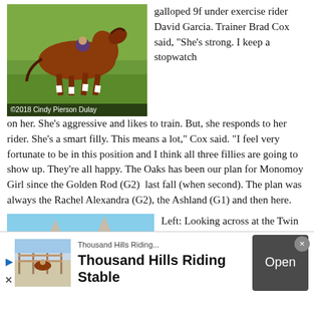[Figure (photo): A chestnut horse galloping with exercise rider, photo credit: ©2018 Cindy Pierson Dulay]
galloped 9f under exercise rider David Garcia. Trainer Brad Cox said, "She's strong. I keep a stopwatch on her. She's aggressive and likes to train. But, she responds to her rider. She's a smart filly. This means a lot," Cox said. "I feel very fortunate to be in this position and I think all three fillies are going to show up. They're all happy. The Oaks has been our plan for Monomoy Girl since the Golden Rod (G2)  last fall (when second). The plan was always the Rachel Alexandra (G2), the Ashland (G1) and then here.
[Figure (photo): Twin Spires at Churchill Downs race track viewed across the infield, with infolinks bar overlay]
Left: Looking across at the Twin Spires during the
[Figure (photo): Advertisement thumbnail showing a horse and rider at Thousand Hills Riding Stable]
Thousand Hills Riding...
Thousand Hills Riding Stable
Open